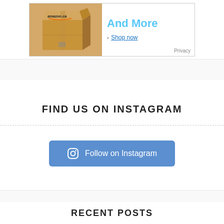[Figure (screenshot): Amazon.ca branded cardboard box advertisement with text 'And More', a 'Shop now' link, and a 'Privacy' label in the bottom right corner.]
FIND US ON INSTAGRAM
[Figure (infographic): Blue rounded button with Instagram camera icon and text 'Follow on Instagram']
RECENT POSTS